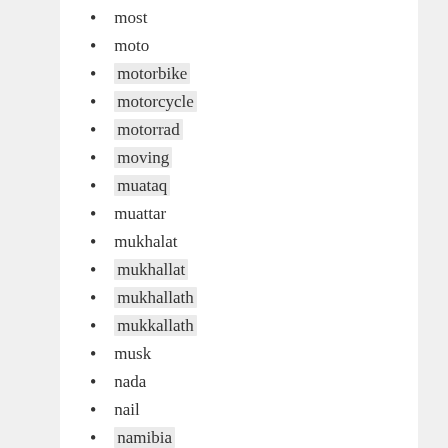most
moto
motorbike
motorcycle
motorrad
moving
muataq
muattar
mukhalat
mukhallat
mukhallath
mukkallath
musk
nada
nail
namibia